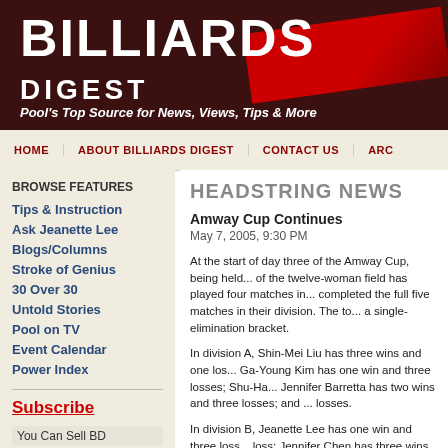BILLIARDS DIGEST — Pool's Top Source for News, Views, Tips & More
HEADSTRING NEWS
Amway Cup Continues
May 7, 2005, 9:30 PM
At the start of day three of the Amway Cup, being held... of the twelve-woman field has played four matches in... completed the full five matches in their division. The to... a single-elimination bracket.
In division A, Shin-Mei Liu has three wins and one loss... Ga-Young Kim has one win and three losses; Shu-Ha... Jennifer Barretta has two wins and three losses; and ... losses.
In division B, Jeanette Lee has one win and three loss... loss; Jennifer Chen has three wins and one loss; Yua... Wendy Jans has three wins and two losses; and Akim...
Tips & Instruction
Ask Jeanette Lee
Blogs/Columns
Stroke of Genius
30 Over 30
Untold Stories
Pool on TV
Event Calendar
Power Index
Subscribe
You Can Sell BD
Gift Subscriptions